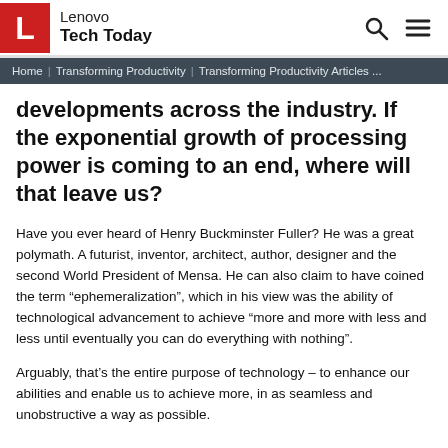Lenovo Tech Today
Home | Transforming Productivity | Transforming Productivity Articles ...
developments across the industry. If the exponential growth of processing power is coming to an end, where will that leave us?
Have you ever heard of Henry Buckminster Fuller? He was a great polymath. A futurist, inventor, architect, author, designer and the second World President of Mensa. He can also claim to have coined the term “ephemeralization”, which in his view was the ability of technological advancement to achieve “more and more with less and less until eventually you can do everything with nothing”.
Arguably, that’s the entire purpose of technology – to enhance our abilities and enable us to achieve more, in as seamless and unobstructive a way as possible.